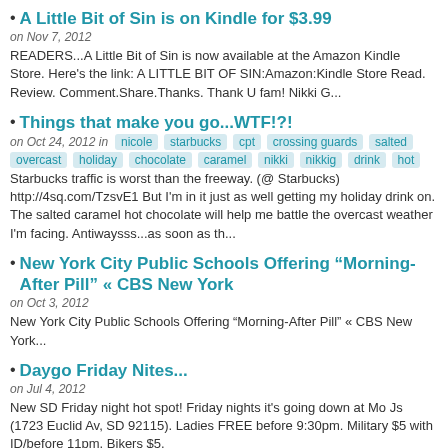A Little Bit of Sin is on Kindle for $3.99
on Nov 7, 2012
READERS...A Little Bit of Sin is now available at the Amazon Kindle Store. Here's the link: A LITTLE BIT OF SIN:Amazon:Kindle Store Read. Review. Comment.Share.Thanks. Thank U fam! Nikki G...
Things that make you go...WTF!?!
on Oct 24, 2012 in nicole starbucks cpt crossing guards salted overcast holiday chocolate caramel nikki nikkig drink hot
Starbucks traffic is worst than the freeway. (@ Starbucks) http://4sq.com/TzsvE1 But I'm in it just as well getting my holiday drink on. The salted caramel hot chocolate will help me battle the overcast weather I'm facing. Antiwaysss...as soon as th...
New York City Public Schools Offering “Morning-After Pill” « CBS New York
on Oct 3, 2012
New York City Public Schools Offering “Morning-After Pill” « CBS New York...
Daygo Friday Nites...
on Jul 4, 2012
New SD Friday night hot spot! Friday nights it's going down at Mo Js (1723 Euclid Av, SD 92115). Ladies FREE before 9:30pm. Military $5 with ID/before 11pm. Bikers $5.
Available for download...
on Jun 18, 2012
Check out "A Little Bit of Sin"...
Hug your sons. Hug your daughters.